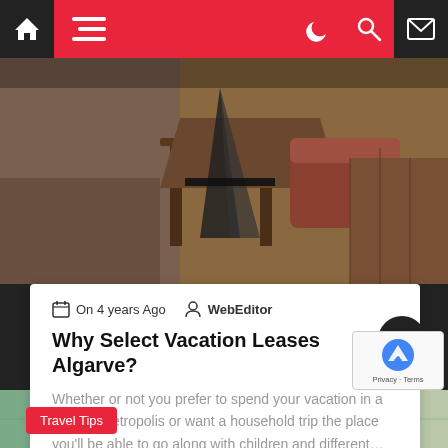Navigation bar with home, menu, dark mode, search, and mail icons
[Figure (photo): Interior photo showing wooden furniture, chairs, table and stone wall background — a rustic restaurant or lodge setting]
On 4 years Ago  WebEditor
Why Select Vacation Leases Algarve?
Whether or not you prefer to spend your vacation in a coastal metropolis or want a household trip the place you'll be able to go along with children and different…
Read More
[Figure (photo): Partial image at bottom of page showing a colorful map — travel-related imagery with a 'Travel Tips' category label]